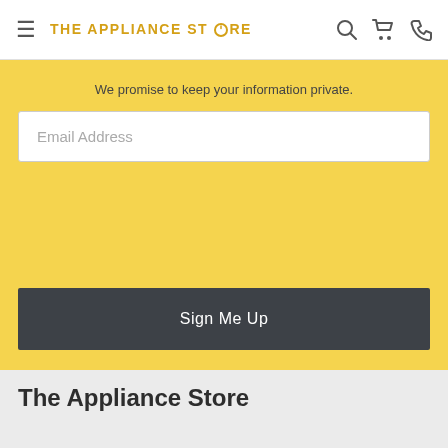THE APPLIANCE STORE
We promise to keep your information private.
Email Address
Sign Me Up
The Appliance Store